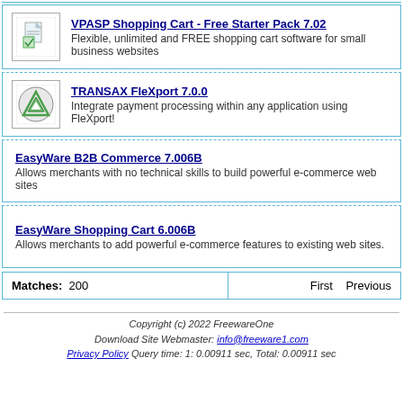VPASP Shopping Cart - Free Starter Pack 7.02
Flexible, unlimited and FREE shopping cart software for small business websites
TRANSAX FleXport 7.0.0
Integrate payment processing within any application using FleXport!
EasyWare B2B Commerce 7.006B
Allows merchants with no technical skills to build powerful e-commerce web sites
EasyWare Shopping Cart 6.006B
Allows merchants to add powerful e-commerce features to existing web sites.
Matches: 200   First   Previous
Copyright (c) 2022 FreewareOne
Download Site Webmaster: info@freeware1.com
Privacy Policy Query time: 1: 0.00911 sec, Total: 0.00911 sec